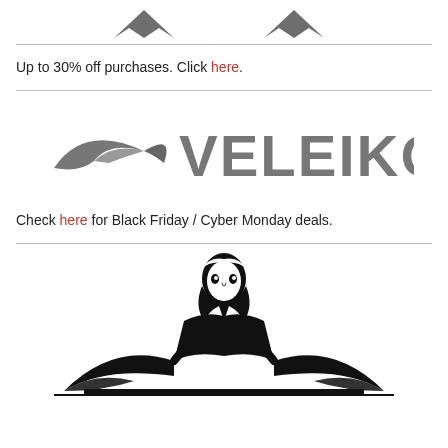[Figure (logo): Partial logo at top of page (cropped, only bottom visible)]
Up to 30% off purchases. Click here.
[Figure (logo): Veleiko brand logo in gray with swoosh mark]
Check here for Black Friday / Cyber Monday deals.
[Figure (logo): Bottom logo showing a figure of a person with wings, partially cropped]